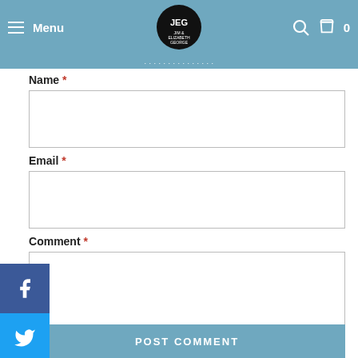Menu | JEG - Jim & Elizabeth George | 0
Name *
Email *
Comment *
POST COMMENT